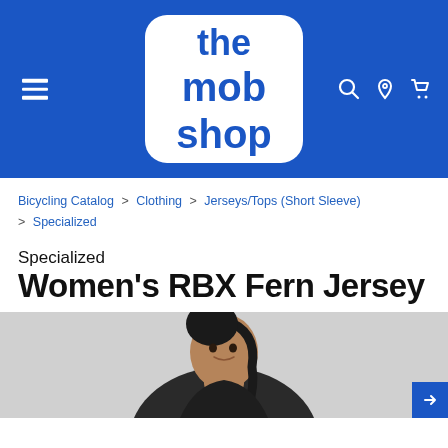[Figure (logo): The Mob Shop logo — white text on blue background reading 'the mob shop' in bold rounded font inside a rounded square]
Bicycling Catalog > Clothing > Jerseys/Tops (Short Sleeve) > Specialized
Specialized
Women's RBX Fern Jersey
[Figure (photo): Woman wearing a dark cycling jersey, smiling slightly, hair in a braid, cropped at torso]